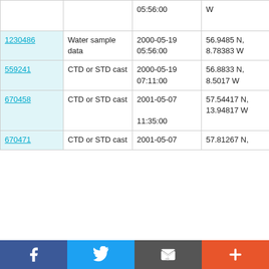| ID | Type | Date/Time | Location | Vessel |
| --- | --- | --- | --- | --- |
|  |  | 05:56:00 | W |  |
| 1230486 | Water sample data | 2000-05-19 05:56:00 | 56.9485 N, 8.78383 W | FRV Scotia 0700S |
| 559241 | CTD or STD cast | 2000-05-19 07:11:00 | 56.8833 N, 8.5017 W | FRV Scotia 0700S |
| 670458 | CTD or STD cast | 2001-05-07 11:35:00 | 57.54417 N, 13.94817 W | RRS Discovery D253 |
| 670471 | CTD or STD cast | 2001-05-07 | 57.81267 N, | RRS Discovery |
f  Twitter  email  +